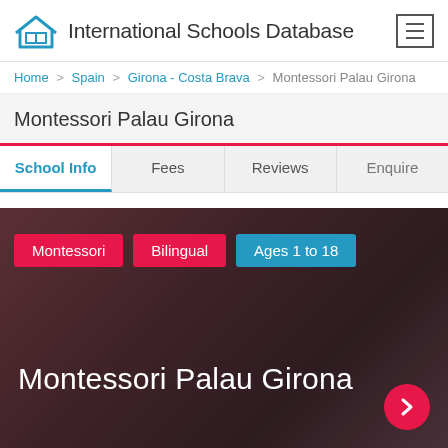International Schools Database
Home > Spain > Girona - Costa Brava > Montessori Palau Girona
Montessori Palau Girona
School Info
Fees
Reviews
Enquire
Montessori
Bilingual
Ages 1 to 18
Montessori Palau Girona